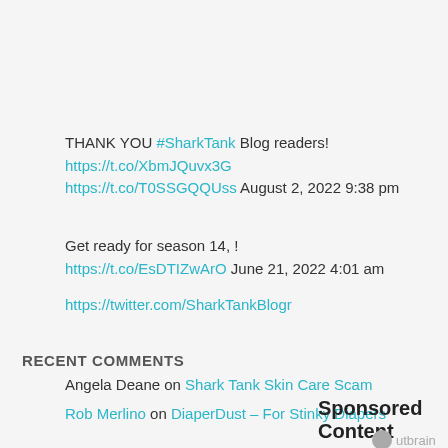THANK YOU #SharkTank Blog readers! https://t.co/XbmJQuvx3G https://t.co/T0SSGQQUss August 2, 2022 9:38 pm
Get ready for season 14, ! https://t.co/EsDTIZwArO June 21, 2022 4:01 am
https://twitter.com/SharkTankBlogr
RECENT COMMENTS
Angela Deane on Shark Tank Skin Care Scam
Rob Merlino on DiaperDust – For Stinky Diapers
Sponsored Content
[Figure (other): Outbrain logo and sponsored content bar at bottom]